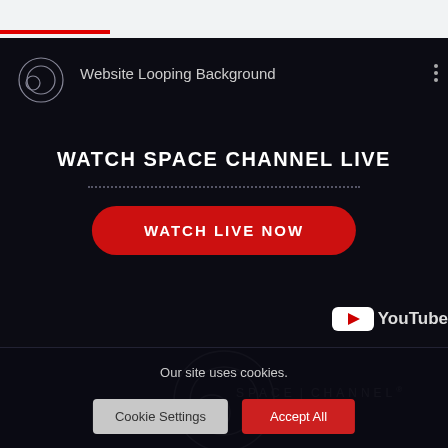[Figure (screenshot): Browser top bar with progress bar in red]
Website Looping Background
WATCH SPACE CHANNEL LIVE
[Figure (other): Red rounded button with text WATCH LIVE NOW]
[Figure (logo): YouTube logo partially visible at right edge]
[Figure (logo): Space Channel circular logo with text SPACE CHANNEL®]
Our site uses cookies.
Cookie Settings
Accept All